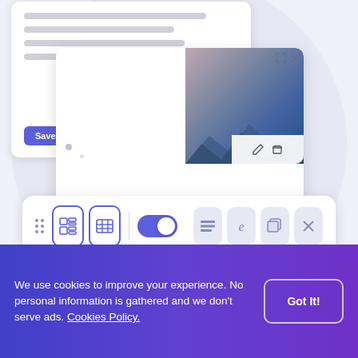[Figure (screenshot): UI screenshot showing two overlapping white cards with text line placeholders, Save/Cancel buttons, an eye icon, a mountain landscape image with edit/delete controls, and a horizontal toolbar with drag handle, two active icon buttons (grid/table), a toggle switch (on), and four faded icon buttons (list, e-symbol, stack, X). Decorative dots and a crosshair are visible. A help/lifesaver icon appears at bottom left.]
We use cookies to improve your experience. No personal information is gathered and we don't serve ads. Cookies Policy.